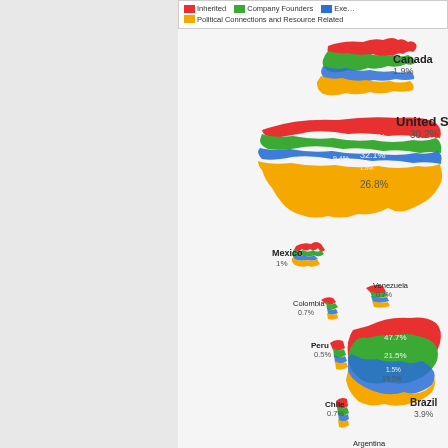[Figure (map): Choropleth-style map of the Americas showing wealth distribution by category (Inherited, Company Founders, Executive, Political Connections and Resource Related) for Canada (1.9%), United States (30.2%: 28.9% Inherited, 32.1% Company Founders, 9.4% Executive/1.8%, 26.8% Political), Mexico (1%), Colombia (0.7%), Venezuela (0.7%), Peru (0.5%), Chile (0.7%), Brazil (3.9%: 47.7%, 21.5%, various), Argentina shown at bottom]
Legend: Inherited, Company Founders, Executive, Political Connections and Resource Related